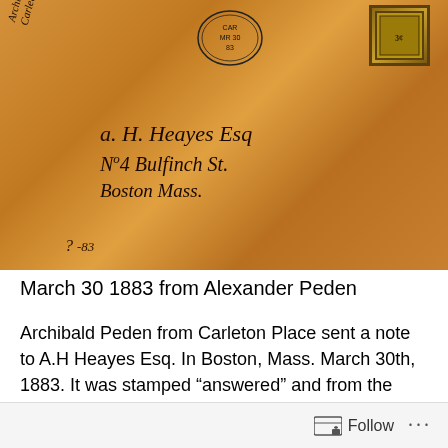[Figure (photo): Photograph of an old handwritten envelope from March 30 1883, addressed to A.H. Heayes Esq., No 4 Bulfinch St., Boston, Mass., with a postmark and postage stamp visible. Envelope has an orange/amber color with cursive handwriting.]
March 30 1883 from Alexander Peden
Archibald Peden from Carleton Place sent a note to A.H Heayes Esq. In Boston, Mass. March 30th, 1883. It was stamped “answered” and from the notation on the envelope it is an inquiry about a lot. In doing some research Albert was a real estate lawyer.
Follow ...